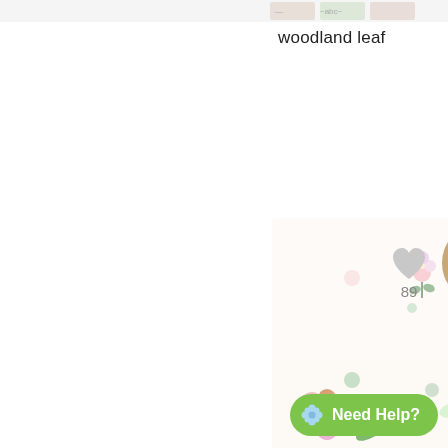[Figure (photo): Partial top strip showing product thumbnail images]
woodland leaf
[Figure (photo): Fabric pattern with cute watercolor farm animals including a pig, dog, cow, goat, lamb, duck, horse, cat, and flowers on a white background]
farm new blush
[Figure (photo): Partial bottom strip showing a fabric pattern with fairies, flowers, and butterflies]
Need Help?